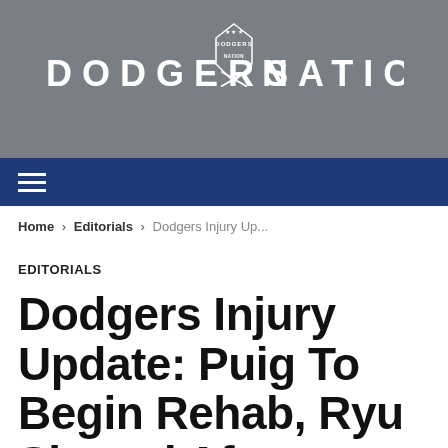DODGERS NATION
≡
Home › Editorials › Dodgers Injury Up...
EDITORIALS
Dodgers Injury Update: Puig To Begin Rehab, Ryu Slowed After Throwing